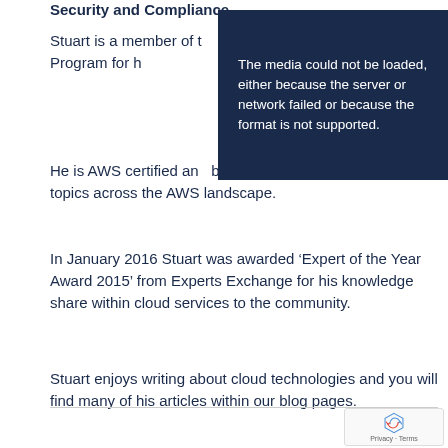Security and Compliance.
Stuart is a member of the AWS Community Builders Program for his expertise and knowledge in AWS.
[Figure (screenshot): Media error overlay with dark navy background and white text reading: 'The media could not be loaded, either because the server or network failed or because the format is not supported.']
He is AWS certified and a published author covering topics across the AWS landscape.
In January 2016 Stuart was awarded ‘Expert of the Year Award 2015’ from Experts Exchange for his knowledge share within cloud services to the community.
Stuart enjoys writing about cloud technologies and you will find many of his articles within our blog pages.